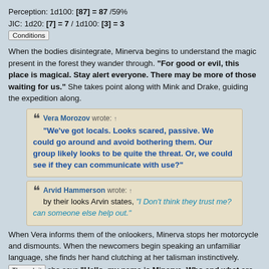Perception: 1d100: [87] = 87 /59%
JIC: 1d20: [7] = 7 / 1d100: [3] = 3
Conditions
When the bodies disintegrate, Minerva begins to understand the magic present in the forest they wander through. "For good or evil, this place is magical. Stay alert everyone. There may be more of those waiting for us." She takes point along with Mink and Drake, guiding the expedition along.
Vera Morozov wrote: ↑ "We've got locals. Looks scared, passive. We could go around and avoid bothering them. Our group likely looks to be quite the threat. Or, we could see if they can communicate with use?"
Arvid Hammerson wrote: ↑ by their looks Arvin states, "I Don't think they trust me? can someone else help out."
When Vera informs them of the onlookers, Minerva stops her motorcycle and dismounts. When the newcomers begin speaking an unfamiliar language, she finds her hand clutching at her talisman instinctively. Through it she says "Hello, my name is Minerva. Who and what are you? What can you tell me about this forest?" (Charm/Impress: